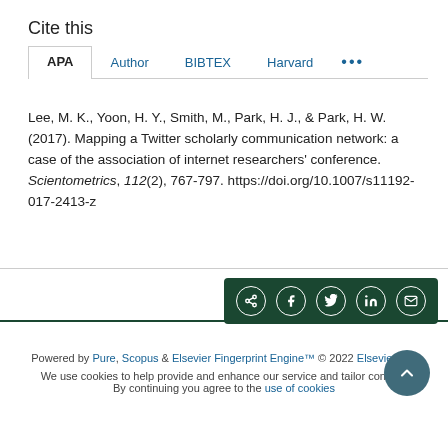Cite this
APA  Author  BIBTEX  Harvard  ...
Lee, M. K., Yoon, H. Y., Smith, M., Park, H. J., & Park, H. W. (2017). Mapping a Twitter scholarly communication network: a case of the association of internet researchers' conference. Scientometrics, 112(2), 767-797. https://doi.org/10.1007/s11192-017-2413-z
[Figure (other): Social share buttons bar (dark green background) with share, Facebook, Twitter, LinkedIn, and email icons]
Powered by Pure, Scopus & Elsevier Fingerprint Engine™ © 2022 Elsevier B.V  We use cookies to help provide and enhance our service and tailor content. By continuing you agree to the use of cookies